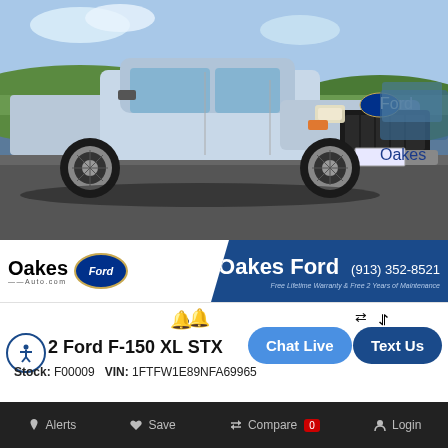[Figure (photo): Silver Ford F-150 XL STX pickup truck photographed in a dealership lot on a sunny day with blue sky and green hills in the background. The truck is silver/ingot silver metallic color, facing slightly right. Other vehicles visible in background.]
[Figure (logo): Oakes Auto.com text logo with Ford oval blue badge logo and Oakes Ford dealership name, phone number (913) 352-8521, and tagline 'Free Lifetime Warranty & Free 2 Years of Maintenance' on a dark blue banner background]
2 Ford F-150 XL STX
Stock: F00009   VIN: 1FTFW1E89NFA69965
Alerts   Save   Compare 0   Login